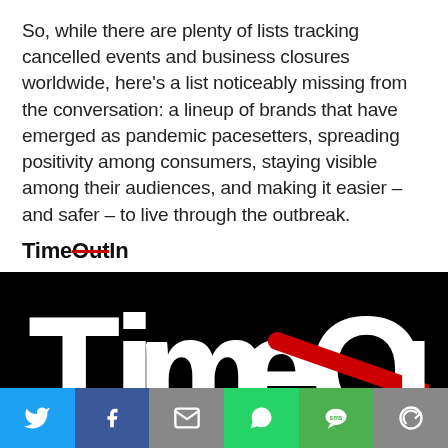So, while there are plenty of lists tracking cancelled events and business closures worldwide, here's a list noticeably missing from the conversation: a lineup of brands that have emerged as pandemic pacesetters, spreading positivity among consumers, staying visible among their audiences, and making it easier – and safer – to live through the outbreak.
TimeOutIn
[Figure (logo): Time Out logo on black background with 'Out' crossed out in red, rebranded as 'TimeIn']
[Figure (infographic): Social sharing bar with Twitter, Facebook, Email, WhatsApp, SMS, and More buttons]